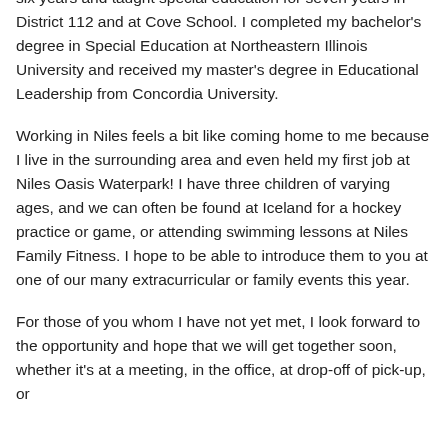learning coordinator in North Shore School District 112 for six years and taught special education for seven years in District 112 and at Cove School. I completed my bachelor's degree in Special Education at Northeastern Illinois University and received my master's degree in Educational Leadership from Concordia University.
Working in Niles feels a bit like coming home to me because I live in the surrounding area and even held my first job at Niles Oasis Waterpark! I have three children of varying ages, and we can often be found at Iceland for a hockey practice or game, or attending swimming lessons at Niles Family Fitness. I hope to be able to introduce them to you at one of our many extracurricular or family events this year.
For those of you whom I have not yet met, I look forward to the opportunity and hope that we will get together soon, whether it's at a meeting, in the office, at drop-off of pick-up, or at one of our activities.